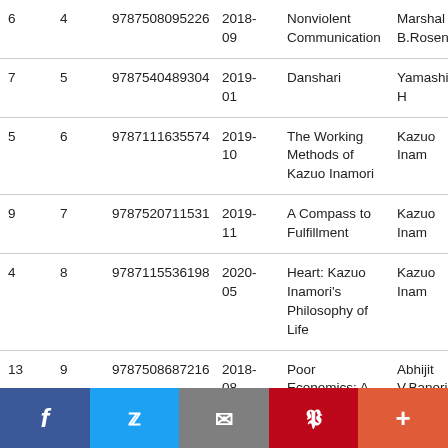|  |  | ISBN | Date | Title | Author |
| --- | --- | --- | --- | --- | --- |
| 6 | 4 | 9787508095226 | 2018-09 | Nonviolent Communication | Marshall B.Rosenberg |
| 7 | 5 | 9787540489304 | 2019-01 | Danshari | Yamashita H |
| 5 | 6 | 9787111635574 | 2019-10 | The Working Methods of Kazuo Inamori | Kazuo Inam |
| 9 | 7 | 9787520711531 | 2019-11 | A Compass to Fulfillment | Kazuo Inam |
| 4 | 8 | 9787115536198 | 2020-05 | Heart: Kazuo Inamori's Philosophy of Life | Kazuo Inam |
| 13 | 9 | 9787508687216 | 2018-08 | Poor Economics: A Radical Rethinking of the Way to Fight Global Poverty | Abhijit V.Banerjee, Esther Duflo |
| 15 | 10 | 9787229114945 | 2019-07 | Rich Dad Poor Dad | Robert |
Social share bar: Facebook, Twitter, Email, Pinterest, More